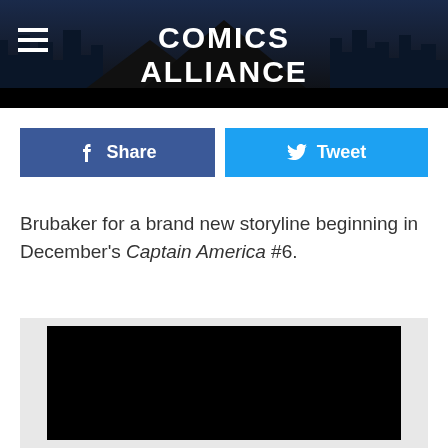COMICS ALLIANCE
f Share
Tweet
Brubaker for a brand new storyline beginning in December's Captain America #6.
[Figure (photo): Black image placeholder area within a light gray container]